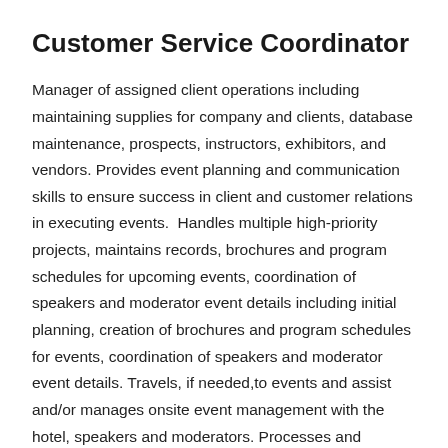Customer Service Coordinator
Manager of assigned client operations including maintaining supplies for company and clients, database maintenance, prospects, instructors, exhibitors, and vendors. Provides event planning and communication skills to ensure success in client and customer relations in executing events.  Handles multiple high-priority projects, maintains records, brochures and program schedules for upcoming events, coordination of speakers and moderator event details including initial planning, creation of brochures and program schedules for events, coordination of speakers and moderator event details. Travels, if needed,to events and assist and/or manages onsite event management with the hotel, speakers and moderators. Processes and submits expenses and...